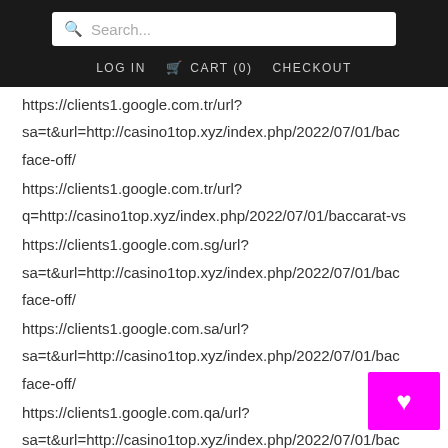Search... LOG IN CART (0) CHECKOUT
https://clients1.google.com.tr/url?
sa=t&url=http://casino1top.xyz/index.php/2022/07/01/bac face-off/
https://clients1.google.com.tr/url?
q=http://casino1top.xyz/index.php/2022/07/01/baccarat-vs
https://clients1.google.com.sg/url?
sa=t&url=http://casino1top.xyz/index.php/2022/07/01/bac face-off/
https://clients1.google.com.sa/url?
sa=t&url=http://casino1top.xyz/index.php/2022/07/01/bac face-off/
https://clients1.google.com.qa/url?
sa=t&url=http://casino1top.xyz/index.php/2022/07/01/bac face-off/
https://clients1.google.com.py/url?